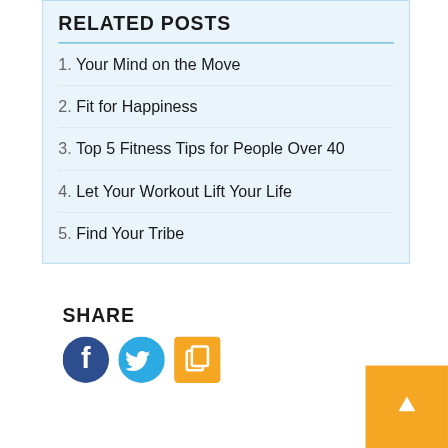RELATED POSTS
1. Your Mind on the Move
2. Fit for Happiness
3. Top 5 Fitness Tips for People Over 40
4. Let Your Workout Lift Your Life
5. Find Your Tribe
SHARE
[Figure (infographic): Social share buttons: Facebook (dark blue circle with f), Twitter (light blue circle with bird), and an orange square with a copy/link icon. An orange scroll-to-top button in the bottom right corner.]